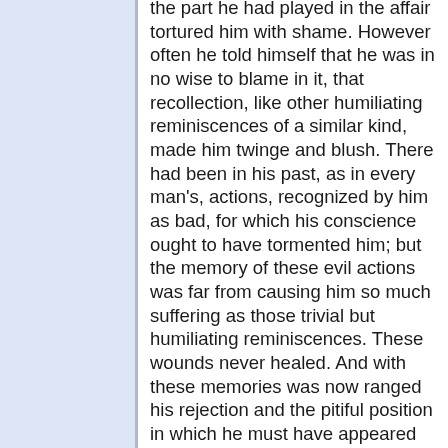the part he had played in the affair tortured him with shame. However often he told himself that he was in no wise to blame in it, that recollection, like other humiliating reminiscences of a similar kind, made him twinge and blush. There had been in his past, as in every man's, actions, recognized by him as bad, for which his conscience ought to have tormented him; but the memory of these evil actions was far from causing him so much suffering as those trivial but humiliating reminiscences. These wounds never healed. And with these memories was now ranged his rejection and the pitiful position in which he must have appeared to others that evening. But time and work did their part. Bitter memories were more and more